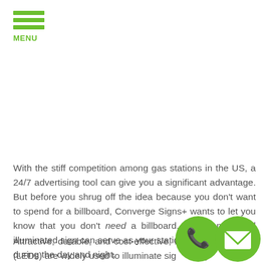MENU
With the stiff competition among gas stations in the US, a 24/7 advertising tool can give you a significant advantage. But before you shrug off the idea because you don't want to spend for a billboard, Converge Signs+ wants to let you know that you don't need a billboard. A custom-crafted illuminated sign can serve as your station's advertising tool during the day and night.
Attractive, durable, and cost-effective, light-emitting diodes (LEDs) are widely used to illuminate signs. They can be
[Figure (illustration): Green circular phone icon (call button) and green circular email/envelope icon overlapping at bottom right of the page]